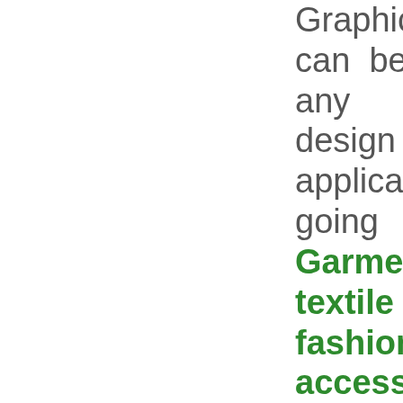Graphics which can be used for any surface design application going from Garments, textile and fashion accessories to stationary, packaging, phone cases, decoration objects, gifts.